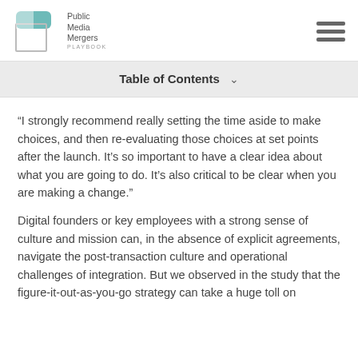[Figure (logo): Public Media Mergers Playbook logo with teal square graphic and text]
Table of Contents
“I strongly recommend really setting the time aside to make choices, and then re-evaluating those choices at set points after the launch. It’s so important to have a clear idea about what you are going to do. It’s also critical to be clear when you are making a change.”
Digital founders or key employees with a strong sense of culture and mission can, in the absence of explicit agreements, navigate the post-transaction culture and operational challenges of integration. But we observed in the study that the figure-it-out-as-you-go strategy can take a huge toll on